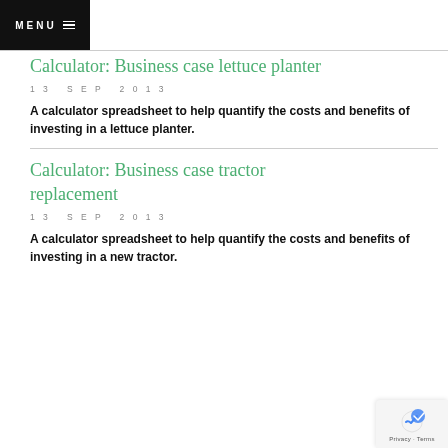MENU
Calculator: Business case lettuce planter
13 SEP 2013
A calculator spreadsheet to help quantify the costs and benefits of investing in a lettuce planter.
Calculator: Business case tractor replacement
13 SEP 2013
A calculator spreadsheet to help quantify the costs and benefits of investing in a new tractor.